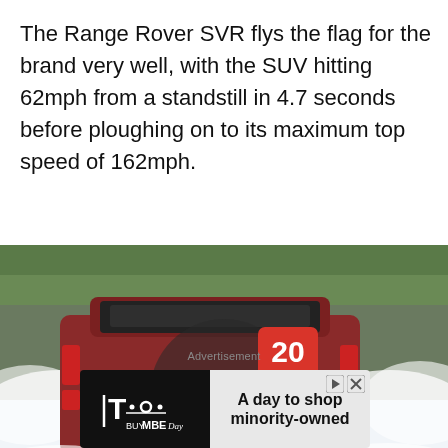The Range Rover SVR flys the flag for the brand very well, with the SUV hitting 62mph from a standstill in 4.7 seconds before ploughing on to its maximum top speed of 162mph.
[Figure (photo): Rear view of a red Range Rover SVR (license plate VA64 UKV) driving through water, creating large water sprays on both sides. A dark translucent circle with a camera icon is overlaid in the center, and a red badge showing '20' appears in the upper right area.]
Advertisement
[Figure (other): Advertisement banner for T-Mobile BUY MBE Day promotion with text 'A day to shop minority-owned']